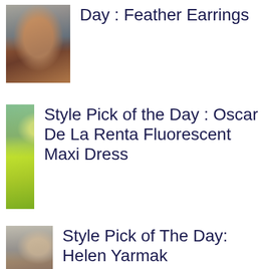[Figure (photo): Fashion model with long hair wearing feather earrings]
Day : Feather Earrings
[Figure (photo): Fashion model in yellow-green fluorescent maxi dress]
Style Pick of the Day : Oscar De La Renta Fluorescent Maxi Dress
[Figure (photo): Person wearing fur coat]
Style Pick of The Day: Helen Yarmak